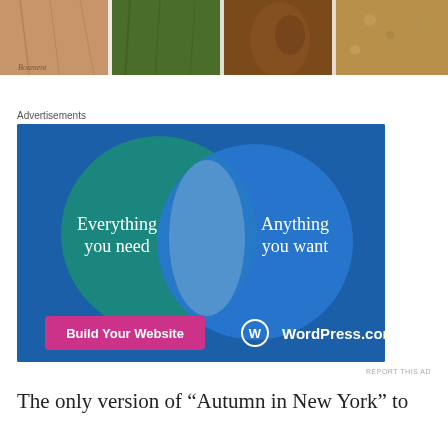[Figure (photo): Top portion of a collage or illustration showing colorful clothing/figures with a handwritten signature at bottom left]
Advertisements
[Figure (infographic): WordPress.com advertisement with Venn diagram showing two overlapping circles on blue background. Left circle (teal): 'Everything you need', Right circle (blue): 'Anything you want'. Bottom: pink 'Build Your Website' button and WordPress.com logo.]
REPORT THIS AD
The only version of “Autumn in New York” to